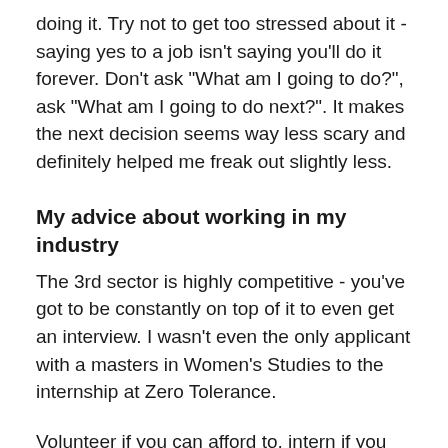doing it. Try not to get too stressed about it - saying yes to a job isn't saying you'll do it forever. Don't ask "What am I going to do?", ask "What am I going to do next?". It makes the next decision seems way less scary and definitely helped me freak out slightly less.
My advice about working in my industry
The 3rd sector is highly competitive - you've got to be constantly on top of it to even get an interview. I wasn't even the only applicant with a masters in Women's Studies to the internship at Zero Tolerance.
Volunteer if you can afford to, intern if you can, run your own projects and campaigns; university is